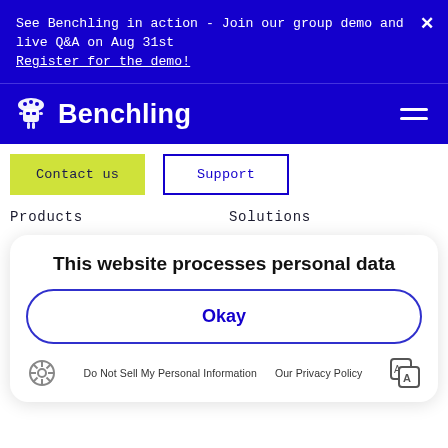See Benchling in action - Join our group demo and live Q&A on Aug 31st
Register for the demo!
[Figure (logo): Benchling logo with robot mascot icon and text 'Benchling' on blue background, with hamburger menu icon]
Contact us
Support
Products
Solutions
This website processes personal data
Okay
Do Not Sell My Personal Information
Our Privacy Policy